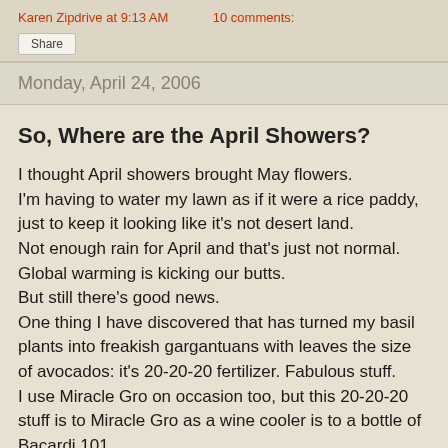Karen Zipdrive at 9:13 AM   10 comments:
Share
Monday, April 24, 2006
So, Where are the April Showers?
I thought April showers brought May flowers.
I'm having to water my lawn as if it were a rice paddy, just to keep it looking like it's not desert land.
Not enough rain for April and that's just not normal.
Global warming is kicking our butts.
But still there's good news.
One thing I have discovered that has turned my basil plants into freakish gargantuans with leaves the size of avocados: it's 20-20-20 fertilizer. Fabulous stuff.
I use Miracle Gro on occasion too, but this 20-20-20 stuff is to Miracle Gro as a wine cooler is to a bottle of Bacardi 101.
My basil plants are so huge I could make pesto for a thousand people.